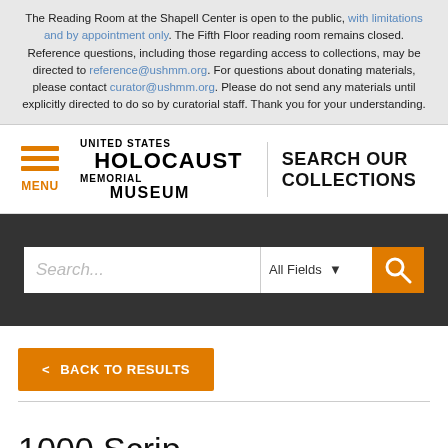The Reading Room at the Shapell Center is open to the public, with limitations and by appointment only. The Fifth Floor reading room remains closed. Reference questions, including those regarding access to collections, may be directed to reference@ushmm.org. For questions about donating materials, please contact curator@ushmm.org. Please do not send any materials until explicitly directed to do so by curatorial staff. Thank you for your understanding.
[Figure (logo): United States Holocaust Memorial Museum logo with hamburger menu icon and SEARCH OUR COLLECTIONS text]
[Figure (screenshot): Search bar with placeholder text 'Search...', All Fields dropdown, and orange search button]
< BACK TO RESULTS
1000 Scrip